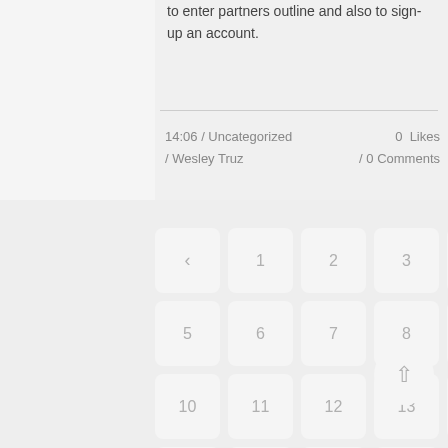to enter partners outline and also to sign-up an account.
14:06 / Uncategorized / Wesley Truz               0 Likes / 0 Comments
[Figure (other): Pagination widget showing page navigation buttons: back arrow, pages 1-24 arranged in rows of 5, and a scroll-to-top circular button]